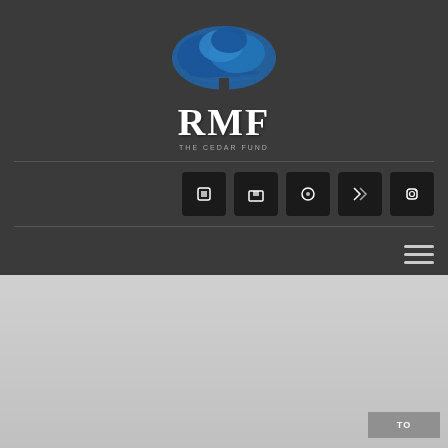[Figure (logo): RMF logo with blue cedar tree graphic above the letters RMF in white serif font, on a dark gray background]
[Figure (other): Row of five dark social media icon buttons aligned to the right]
[Figure (other): Hamburger menu icon (three horizontal lines) aligned to the right]
[Figure (other): Light gray gradient content area in the lower half of the page with a small gray button in the bottom right corner labeled TO]